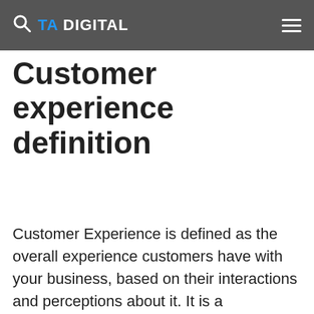TA DIGITAL
Customer experience definition
Customer Experience is defined as the overall experience customers have with your business, based on their interactions and perceptions about it. It is a combination of a customer's psychological, emotional, and physical encounter with your business. A delightful customer experience is